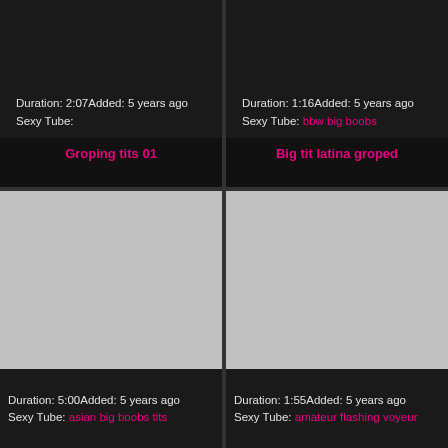[Figure (photo): Gray placeholder thumbnail for video 1 (top left)]
Duration: 2:07Added: 5 years ago
Sexy Tube:
[Figure (photo): Gray placeholder thumbnail for video 2 (top right)]
Duration: 1:16Added: 5 years ago
Sexy Tube: bbw big boobs
Groping tits 01
Big tit latina groped
[Figure (photo): Gray placeholder thumbnail for video 3 (bottom left)]
Duration: 5:00Added: 5 years ago
Sexy Tube: asian big boobs tits
[Figure (photo): Gray placeholder thumbnail for video 4 (bottom right)]
Duration: 1:55Added: 5 years ago
Sexy Tube: amateur flashing voyeur